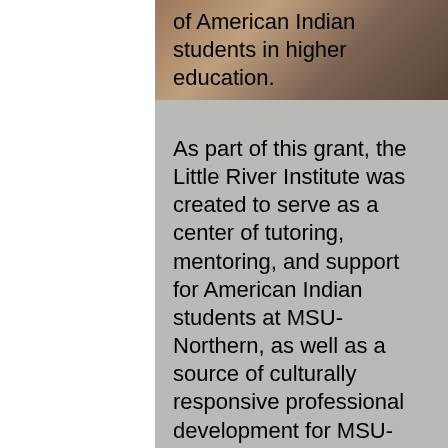[Figure (photo): Background photo showing colorful Native American cultural elements/beadwork/regalia, partially visible at top right of page]
of American Indian students in higher education.
As part of this grant, the Little River Institute was created to serve as a center of tutoring, mentoring, and support for American Indian students at MSU-Northern, as well as a source of culturally responsive professional development for MSU-Northern faculty and staff.